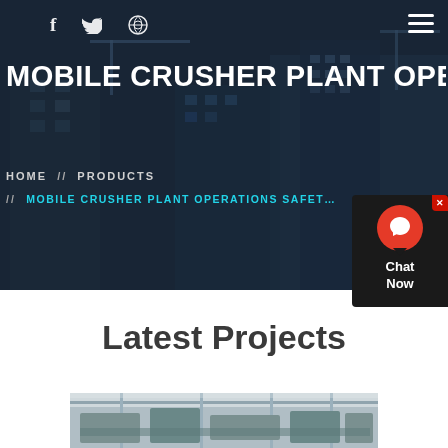[Figure (photo): Construction site with tall buildings and cranes in the background, overlaid with a dark blue tint. Used as a hero banner background.]
f  Twitter  Dribbble  ≡
MOBILE CRUSHER PLANT OPERA…
HOME  //  PRODUCTS  //  MOBILE CRUSHER PLANT OPERATIONS SAFET…
Latest Projects
[Figure (photo): Industrial machinery, crusher plant equipment inside a facility.]